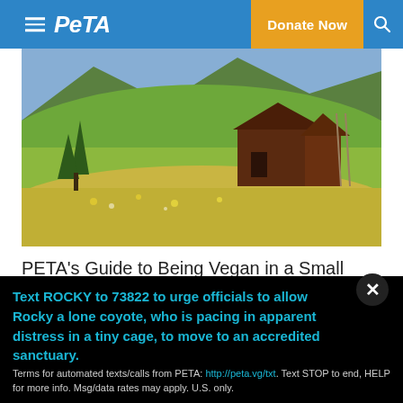PETA — Donate Now
[Figure (photo): Alpine meadow with yellow wildflowers, evergreen trees, and a rustic dark wooden barn/chalet on a green hillside with mountains in the background]
PETA's Guide to Being Vegan in a Small Town
[Figure (photo): Close-up of yellow and white striped paper straws on a light background]
Text ROCKY to 73822 to urge officials to allow Rocky a lone coyote, who is pacing in apparent distress in a tiny cage, to move to an accredited sanctuary.
Terms for automated texts/calls from PETA: http://peta.vg/txt. Text STOP to end, HELP for more info. Msg/data rates may apply. U.S. only.